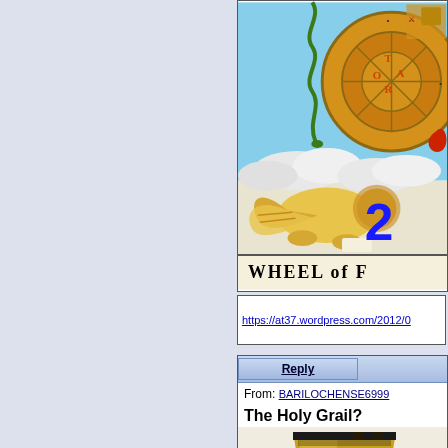[Figure (illustration): Partial view of Wheel of Fortune tarot card with the number 2 overlaid in blue, showing a winged lion, serpent, wheel symbol, and 'WHEEL of' text label at bottom]
https://at37.wordpress.com/2012/0
Reply
From: BARILOCHENSE6999
The Holy Grail?
[Figure (photo): Close-up photo of a golden chalice / goblet representing the Holy Grail]